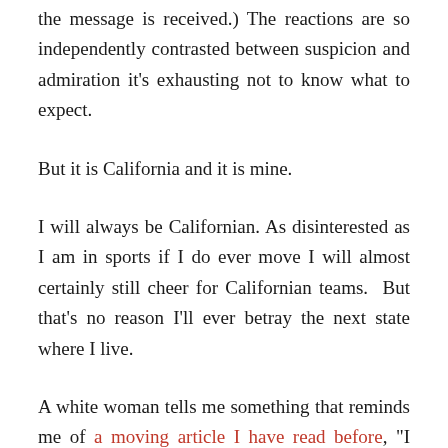the message is received.) The reactions are so independently contrasted between suspicion and admiration it's exhausting not to know what to expect.
But it is California and it is mine.
I will always be Californian. As disinterested as I am in sports if I do ever move I will almost certainly still cheer for Californian teams. But that's no reason I'll ever betray the next state where I live.
A white woman tells me something that reminds me of a moving article I have read before, "I don't mean to be offensive, and I know how dangerous and hurtful